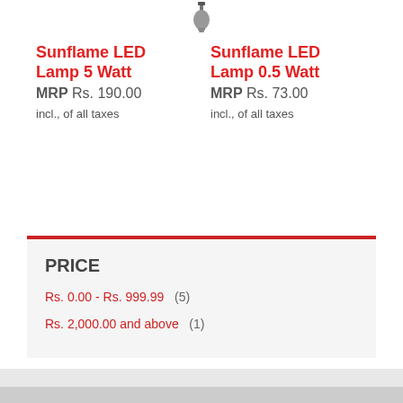[Figure (illustration): Small icon of a lamp/bulb at the top center]
Sunflame LED Lamp 5 Watt
MRP Rs. 190.00
incl., of all taxes
Sunflame LED Lamp 0.5 Watt
MRP Rs. 73.00
incl., of all taxes
PRICE
Rs. 0.00 - Rs. 999.99   (5)
Rs. 2,000.00 and above   (1)